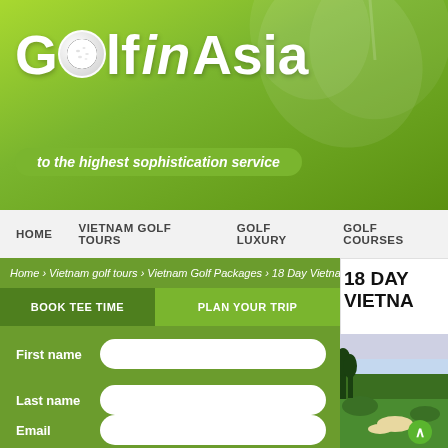[Figure (logo): Golf in Asia website header with green gradient background, heart/leaf decorative shape, and Golf in Asia logo with golf ball replacing the 'o' in Golf]
Golf in Asia
to the highest sophistication service
HOME   VIETNAM GOLF TOURS   GOLF LUXURY   GOLF COURSES
Home › Vietnam golf tours › Vietnam Golf Packages › 18 Day Vietnam Golf Adventure
BOOK TEE TIME   PLAN YOUR TRIP
First name
Last name
Email
18 DAY VIETNA
[Figure (photo): Golf course photo showing green fairway with sand bunker and trees, pink/blue sky, with green circle arrow button overlay]